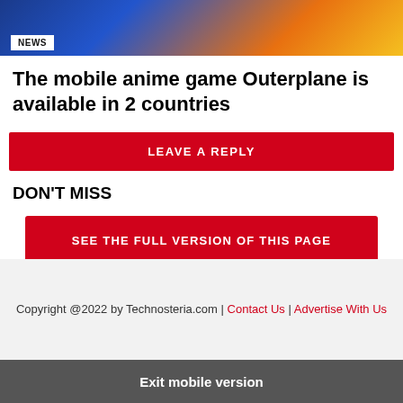[Figure (photo): Hero image with anime game Outerplane art — blue and orange/yellow bokeh lights with a NEWS badge overlay]
The mobile anime game Outerplane is available in 2 countries
LEAVE A REPLY
DON'T MISS
SEE THE FULL VERSION OF THIS PAGE
Copyright @2022 by Technosteria.com | Contact Us | Advertise With Us
Exit mobile version